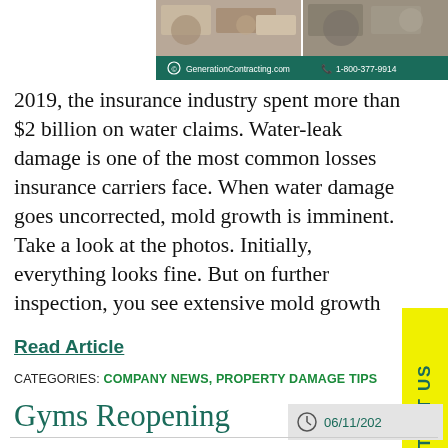[Figure (photo): Two side-by-side photos showing water and mold damage, with teal header bar showing GenerationContracting.com and 1-800-377-9914]
2019, the insurance industry spent more than $2 billion on water claims. Water-leak damage is one of the most common losses insurance carriers face. When water damage goes uncorrected, mold growth is imminent. Take a look at the photos. Initially, everything looks fine. But on further inspection, you see extensive mold growth
Read Article
CATEGORIES: COMPANY NEWS, PROPERTY DAMAGE TIPS
Gyms Reopening
06/11/202